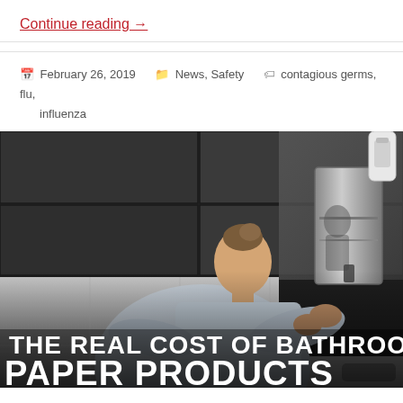Continue reading →
February 26, 2019   News, Safety   contagious germs, flu, influenza
[Figure (photo): A person in a white shirt reaching toward a stainless steel paper towel dispenser mounted on a wall in a modern bathroom with dark tiled walls and mirrors, with text overlay reading THE REAL COST OF BATHROOM PAPER PRODUCTS]